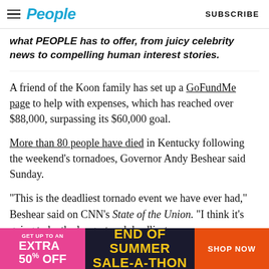People | SUBSCRIBE
what PEOPLE has to offer, from juicy celebrity news to compelling human interest stories.
A friend of the Koon family has set up a GoFundMe page to help with expenses, which has reached over $88,000, surpassing its $60,000 goal.
More than 80 people have died in Kentucky following the weekend's tornadoes, Governor Andy Beshear said Sunday.
“This is the deadliest tornado event we have ever had,” Beshear said on CNN’s State of the Union. “I think it’s going to be the longest and deadliest
[Figure (other): Advertisement banner: GET UP TO AN EXTRA 50% OFF | END OF SUMMER SALE-A-THON | SHOP NOW]